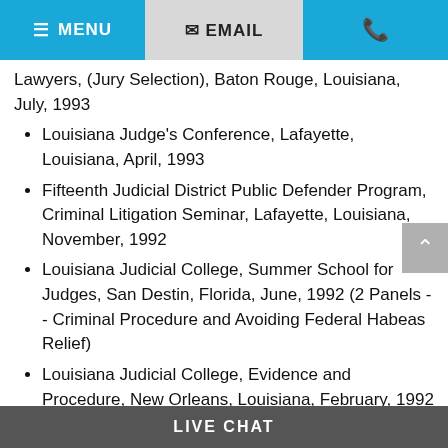MENU | EMAIL | (phone icon)
Lawyers, (Jury Selection), Baton Rouge, Louisiana, July, 1993
Louisiana Judge's Conference, Lafayette, Louisiana, April, 1993
Fifteenth Judicial District Public Defender Program, Criminal Litigation Seminar, Lafayette, Louisiana, November, 1992
Louisiana Judicial College, Summer School for Judges, San Destin, Florida, June, 1992 (2 Panels -- Criminal Procedure and Avoiding Federal Habeas Relief)
Louisiana Judicial College, Evidence and Procedure, New Orleans, Louisiana, February, 1992
Louisiana State University, Paul M. Hebert Summer
LIVE CHAT